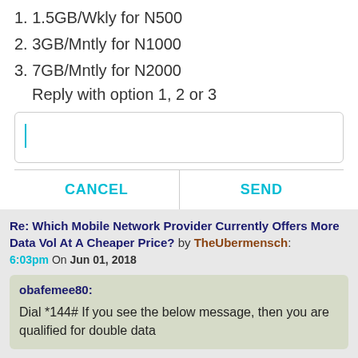1. 1.5GB/Wkly for N500
2. 3GB/Mntly for N1000
3. 7GB/Mntly for N2000
Reply with option 1, 2 or 3
Re: Which Mobile Network Provider Currently Offers More Data Vol At A Cheaper Price? by TheUbermensch: 6:03pm On Jun 01, 2018
obafemee80: Dial *144# If you see the below message, then you are qualified for double data
thanks.
2 Likes